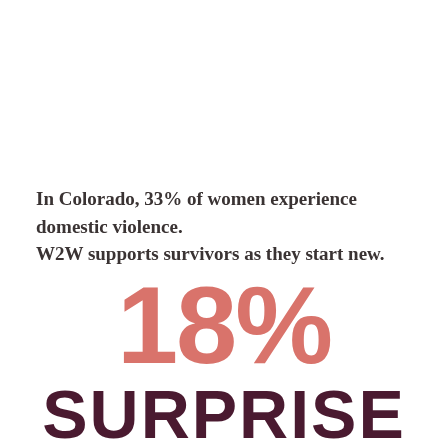In Colorado, 33% of women experience domestic violence. W2W supports survivors as they start new.
18% SURPRISE